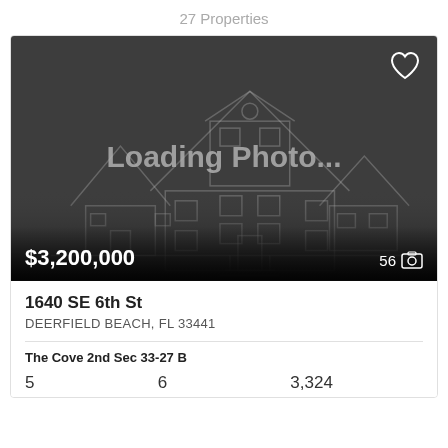27 Properties
[Figure (photo): Property listing photo placeholder with dark background showing a house outline watermark and 'Loading Photo...' text overlay. Price $3,200,000 shown at bottom left, photo count 56 at bottom right.]
1640 SE 6th St
DEERFIELD BEACH, FL 33441
The Cove 2nd Sec 33-27 B
5   6   3,324